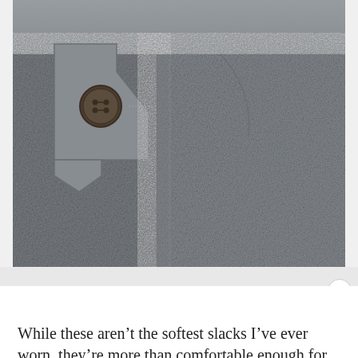[Figure (photo): Close-up photograph of grey dress slacks/trousers showing the waistband area with a brown button and a tab closure. The fabric is a medium grey herringbone or chambray weave. A lighter grey ad banner overlays the bottom of the image with a circular white close (X) button.]
While these aren't the softest slacks I've ever worn, they're more than comfortable enough for three